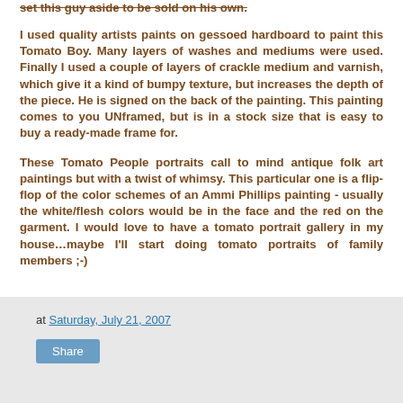set this guy aside to be sold on his own.
I used quality artists paints on gessoed hardboard to paint this Tomato Boy. Many layers of washes and mediums were used. Finally I used a couple of layers of crackle medium and varnish, which give it a kind of bumpy texture, but increases the depth of the piece. He is signed on the back of the painting. This painting comes to you UNframed, but is in a stock size that is easy to buy a ready-made frame for.
These Tomato People portraits call to mind antique folk art paintings but with a twist of whimsy. This particular one is a flip-flop of the color schemes of an Ammi Phillips painting - usually the white/flesh colors would be in the face and the red on the garment. I would love to have a tomato portrait gallery in my house…maybe I'll start doing tomato portraits of family members ;-)
at Saturday, July 21, 2007
Share